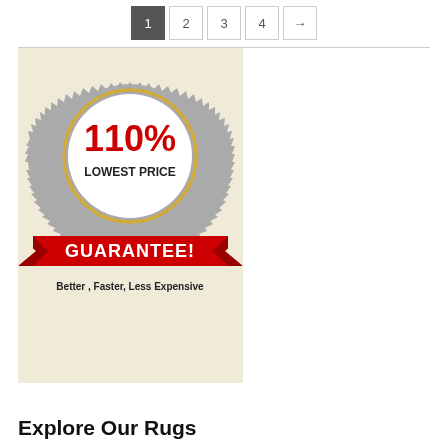1  2  3  4  →
[Figure (illustration): 110% Lowest Price Guarantee badge/seal on a beige background with red ribbon banner saying GUARANTEE!, text below: Better, Faster, Less Expensive and body text about Santa Barbara Design Center price guarantee policy.]
Explore Our Rugs